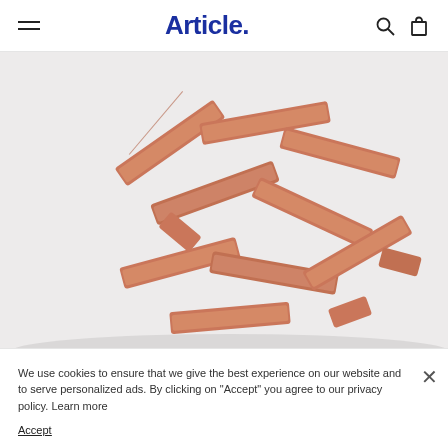Article.
[Figure (photo): Pile of terracotta/coral colored plastic or metal bag clips scattered on a light grey background]
HAY
We use cookies to ensure that we give the best experience on our website and to serve personalized ads. By clicking on "Accept" you agree to our privacy policy. Learn more
Accept